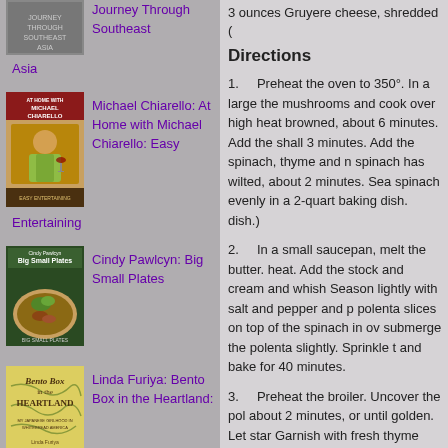[Figure (photo): Book cover for Southeast Asia travel/food book, gray toned image]
Journey Through Southeast Asia
[Figure (photo): Michael Chiarello book cover showing man in yellow shirt holding wine glass]
Michael Chiarello: At Home with Michael Chiarello: Easy Entertaining
[Figure (photo): Cindy Pawlcyn Big Small Plates book cover with food dish]
Cindy Pawlcyn: Big Small Plates
[Figure (photo): Bento Box in the Heartland book cover with yellow/green map design]
Linda Furiya: Bento Box in the Heartland:
3 ounces Gruyere cheese, shredded (
Directions
1.    Preheat the oven to 350°. In a large the mushrooms and cook over high heat browned, about 6 minutes. Add the shall 3 minutes. Add the spinach, thyme and n spinach has wilted, about 2 minutes. Sea spinach evenly in a 2-quart baking dish. dish.)
2.    In a small saucepan, melt the butter. heat. Add the stock and cream and whish Season lightly with salt and pepper and p polenta slices on top of the spinach in ov submerge the polenta slightly. Sprinkle t and bake for 40 minutes.
3.    Preheat the broiler. Uncover the pol about 2 minutes, or until golden. Let star Garnish with fresh thyme and serve.
Italian   Vegetarian   Permalink